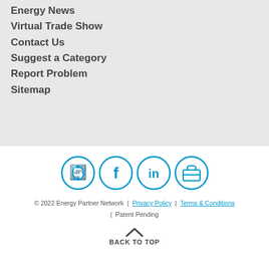Energy News
Virtual Trade Show
Contact Us
Suggest a Category
Report Problem
Sitemap
[Figure (logo): Four circular social media icons in blue outline style: Energy Partner Network logo, Facebook (f), LinkedIn (in), and a store/briefcase icon]
© 2022 Energy Partner Network | Privacy Policy | Terms & Conditions | Patent Pending
BACK TO TOP